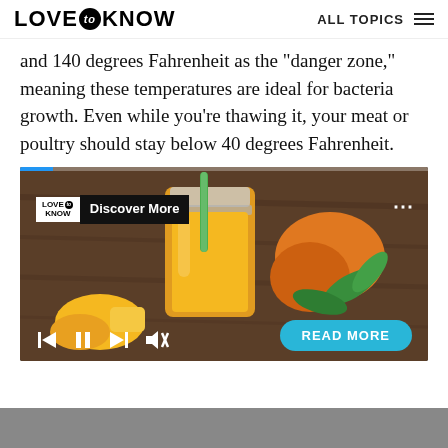LOVE to KNOW | ALL TOPICS
and 140 degrees Fahrenheit as the "danger zone," meaning these temperatures are ideal for bacteria growth. Even while you're thawing it, your meat or poultry should stay below 40 degrees Fahrenheit.
[Figure (screenshot): Video player showing a mango juice image with LoveToKnow logo, 'Discover More' label, three-dot menu, progress bar, playback controls (skip back, pause, skip forward, mute), and a 'READ MORE' button.]